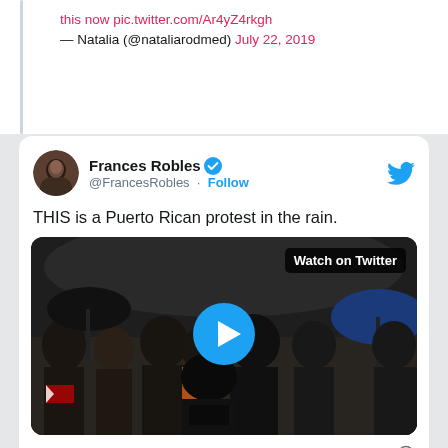— Natalia (@nataliarodmed) July 22, 2019
[Figure (screenshot): Tweet by Frances Robles (@FrancesRobles) with text 'THIS is a Puerto Rican protest in the rain.' and an embedded video thumbnail showing protesters in the rain with a 'Watch on Twitter' label and a play button. Posted at 5:49 PM · Jul 22, 2019 with 126 likes. Includes Reply and Copy link actions, and an 'Explore what's happening on Twitter' button.]